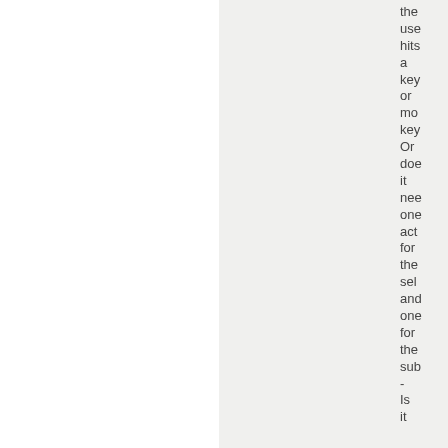the user hits a key or mo key Or doe it nee one act for the sel and one for the sub - Is it